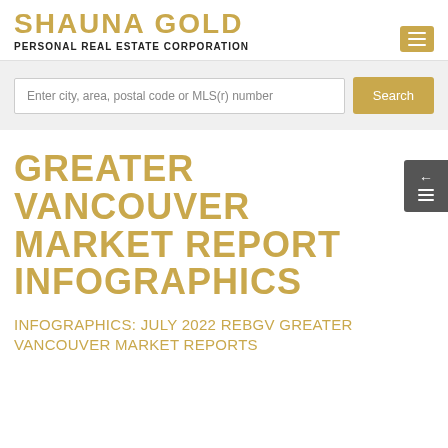SHAUNA GOLD PERSONAL REAL ESTATE CORPORATION
Enter city, area, postal code or MLS(r) number
GREATER VANCOUVER MARKET REPORT INFOGRAPHICS
INFOGRAPHICS: JULY 2022 REBGV GREATER VANCOUVER MARKET REPORTS